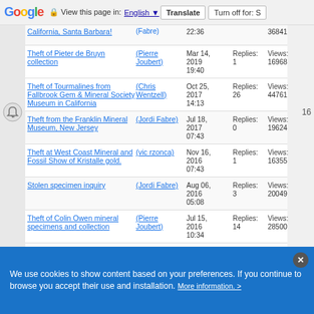Google Translate bar: View this page in: English | Translate | Turn off for: S
Theft of Pieter de Bruyn collection (Pierre Joubert) Mar 14, 2019 19:40 Replies: 1 Views: 16968
Theft of Tourmalines from Fallbrook Gem & Mineral Society Museum in California (Chris Wentzell) Oct 25, 2017 14:13 Replies: 26 Views: 44761
Theft from the Franklin Mineral Museum, New Jersey (Jordi Fabre) Jul 18, 2017 07:43 Replies: 0 Views: 19624
Theft at West Coast Mineral and Fossil Show of Kristalle gold. (vic rzonca) Nov 16, 2016 07:43 Replies: 1 Views: 16355
Stolen specimen inquiry (Jordi Fabre) Aug 06, 2016 05:08 Replies: 3 Views: 20049
Theft of Colin Owen mineral specimens and collection (Pierre Joubert) Jul 15, 2016 10:34 Replies: 14 Views: 28500
THEFT of 60 world class mineral specimens in Johannesburg! (Jordi Fabre) Apr 29, 2016 10:04 Replies: 19 Views: 51354
We use cookies to show content based on your preferences. If you continue to browse you accept their use and installation. More information. >